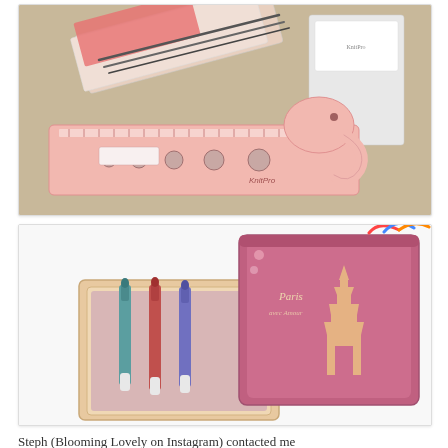[Figure (photo): Knitting tools including needle gauges, a KnitPro elephant-shaped needle gauge/ruler, and knitting needles in packaging on a beige surface.]
[Figure (photo): KnitPro interchangeable knitting needle set in a wooden tray, next to a pink Paris-themed zip case with Eiffel Tower design, containing colorful knitting needles.]
Steph (Blooming Lovely on Instagram) contacted me